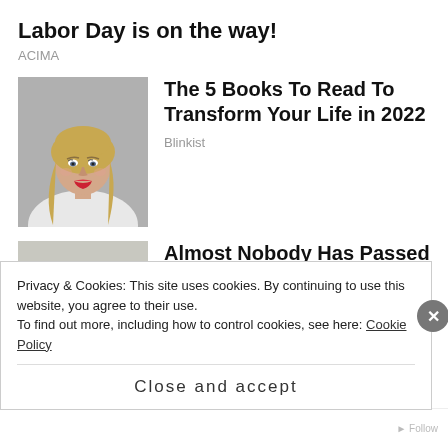Labor Day is on the way!
ACIMA
[Figure (photo): Portrait photo of a blonde woman with red lipstick looking to the side]
The 5 Books To Read To Transform Your Life in 2022
Blinkist
[Figure (illustration): Illustrated portrait of a colonial-era judge or gentleman wearing a tricorn hat and white wig]
Almost Nobody Has Passed This Classic Logo Quiz
WarpedSpeed
Privacy & Cookies: This site uses cookies. By continuing to use this website, you agree to their use.
To find out more, including how to control cookies, see here: Cookie Policy
Close and accept